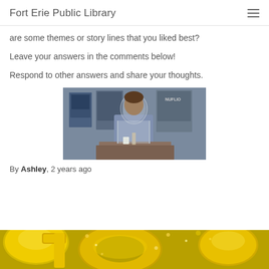Fort Erie Public Library
are some themes or story lines that you liked best?
Leave your answers in the comments below!
Respond to other answers and share your thoughts.
[Figure (photo): A person wearing a face shield standing behind a desk in a library setting, with movie or book posters on the blue wall behind them. The word 'NUFLIO' is partially visible on a poster.]
By Ashley, 2 years ago
[Figure (photo): Gold metallic number balloons with confetti scattered on a light background, cropped at the bottom of the page.]